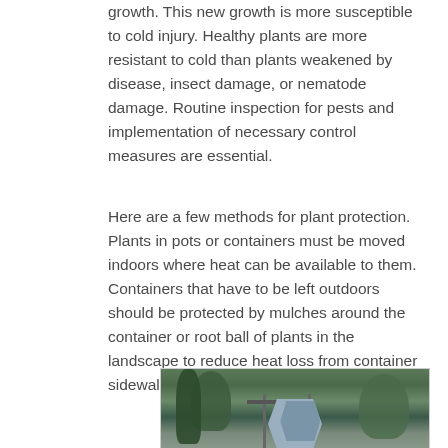growth. This new growth is more susceptible to cold injury. Healthy plants are more resistant to cold than plants weakened by disease, insect damage, or nematode damage. Routine inspection for pests and implementation of necessary control measures are essential.
Here are a few methods for plant protection. Plants in pots or containers must be moved indoors where heat can be available to them. Containers that have to be left outdoors should be protected by mulches around the container or root ball of plants in the landscape to reduce heat loss from container sidewalls.
[Figure (photo): Outdoor garden scene showing plants and metal structures or supports in a landscape setting]